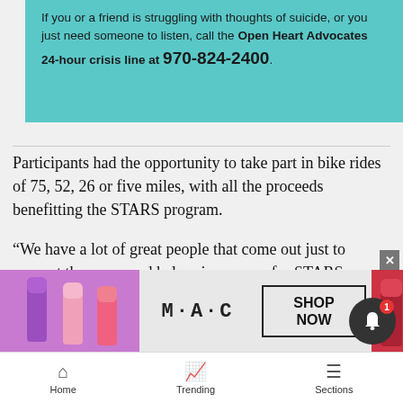[Figure (infographic): Teal box with text about Open Heart Advocates crisis line: 'If you or a friend is struggling with thoughts of suicide, or you just need someone to listen, call the Open Heart Advocates 24-hour crisis line at 970-824-2400.']
Participants had the opportunity to take part in bike rides of 75, 52, 26 or five miles, with all the proceeds benefitting the STARS program.
“We have a lot of great people that come out just to support the cause and help raise money for STARS, which we truly appreciate,” said STARS Executive Director Julie Taulman.
[Figure (screenshot): MAC cosmetics advertisement banner showing lipsticks in purple, pink, and red with MAC logo and SHOP NOW button.]
Home  Trending  Sections